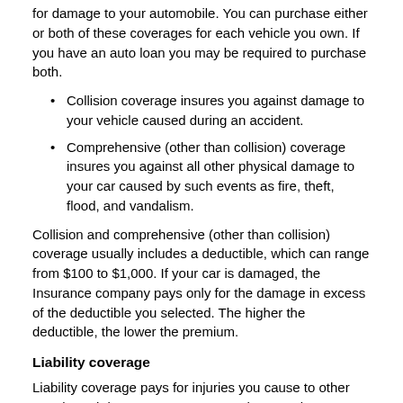for damage to your automobile. You can purchase either or both of these coverages for each vehicle you own. If you have an auto loan you may be required to purchase both.
Collision coverage insures you against damage to your vehicle caused during an accident.
Comprehensive (other than collision) coverage insures you against all other physical damage to your car caused by such events as fire, theft, flood, and vandalism.
Collision and comprehensive (other than collision) coverage usually includes a deductible, which can range from $100 to $1,000. If your car is damaged, the Insurance company pays only for the damage in excess of the deductible you selected. The higher the deductible, the lower the premium.
Liability coverage
Liability coverage pays for injuries you cause to other people and damage you cause to other people's property when you are at fault in an automobile accident.
Medical Payments coverage